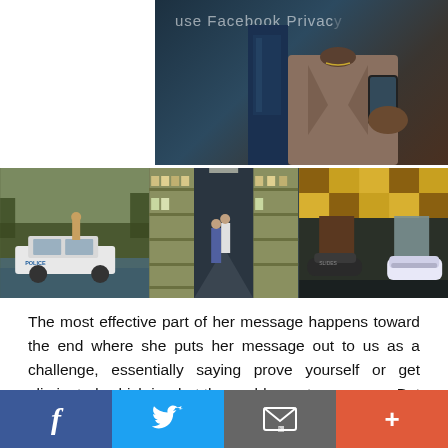[Figure (screenshot): Top image showing Facebook Privacy interface with a person holding a phone, dark blue and brown tones. Text overlay reads 'use Facebook Privac...']
[Figure (photo): Three thumbnail images in a row: left shows a person standing on a car roof in flood water with a police car, center shows people in a store aisle, right shows feet/sandals in a colorful pattern.]
The most effective part of her message happens toward the end where she puts her message out to us as a challenge, essentially saying prove yourself or get eliminated, which is what the world says to everyone. But there's something about Beyoncé saying it with her leotards and her twerking dancers. In the age of 30-day-butt-lift and 7-day-clean-eating challenges, this generation responds well to a good challenge and accepting a challenge from Beyoncé...
f | Twitter bird | envelope/email | +